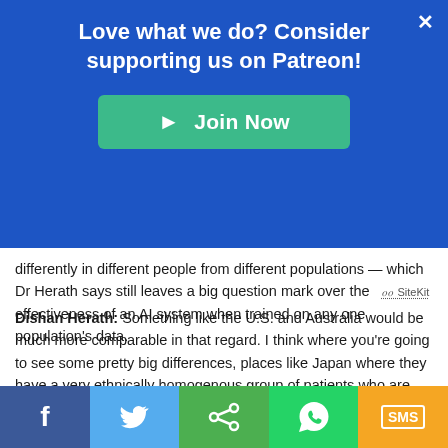Love what we do? Consider supporting us on Patreon!
differently in different people from different populations — which Dr Herath says still leaves a big question mark over the effectiveness of an AI system when trained on any one population's data.
Dishan Herath: Something like the U.S. and Australia would be much more comparable in that regard. I think where you're going to see some pretty big differences, places like Japan where they have a very ethnically homogenous group of patients who are quite different to Australian patients. So we're probably more comparable to somewhere like the U.S. than to Japan, for instance.
[Figure (other): Social media share bar with Facebook, Twitter, Share, WhatsApp, and SMS buttons]